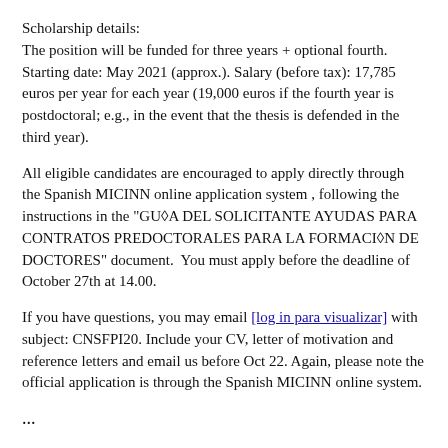Scholarship details:
The position will be funded for three years + optional fourth. Starting date: May 2021 (approx.). Salary (before tax): 17,785 euros per year for each year (19,000 euros if the fourth year is postdoctoral; e.g., in the event that the thesis is defended in the third year).
All eligible candidates are encouraged to apply directly through the Spanish MICINN online application system , following the instructions in the "GU◆A DEL SOLICITANTE AYUDAS PARA CONTRATOS PREDOCTORALES PARA LA FORMACI◆N DE DOCTORES" document.  You must apply before the deadline of October 27th at 14.00.
If you have questions, you may email [log in para visualizar] with subject: CNSFPI20. Include your CV, letter of motivation and reference letters and email us before Oct 22. Again, please note the official application is through the Spanish MICINN online system.
...